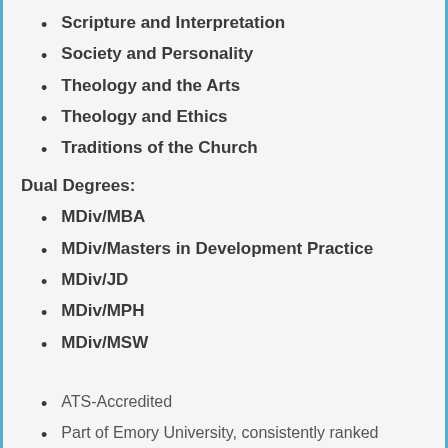Scripture and Interpretation
Society and Personality
Theology and the Arts
Theology and Ethics
Traditions of the Church
Dual Degrees:
MDiv/MBA
MDiv/Masters in Development Practice
MDiv/JD
MDiv/MPH
MDiv/MSW
ATS-Accredited
Part of Emory University, consistently ranked among the top 25 universities in the nation by U.S. News & World Report